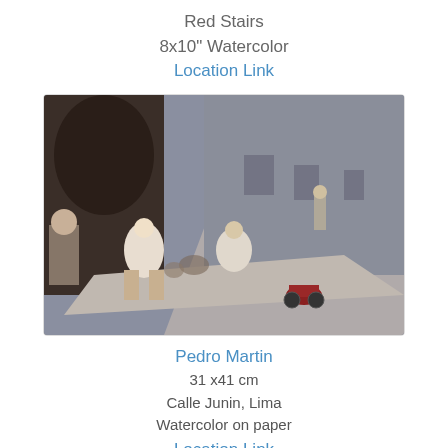Red Stairs
8x10" Watercolor
Location Link
[Figure (illustration): Watercolor painting of a street scene, Calle Junin Lima, with pedestrians, a motorcyclist, and buildings along a sidewalk. Painted by Pedro Martin, 31x41 cm, watercolor on paper.]
Pedro Martin
31 x41 cm
Calle Junin, Lima
Watercolor on paper
Location Link
[Figure (illustration): Bottom of another artwork image, partially visible, showing green/outdoor scene.]